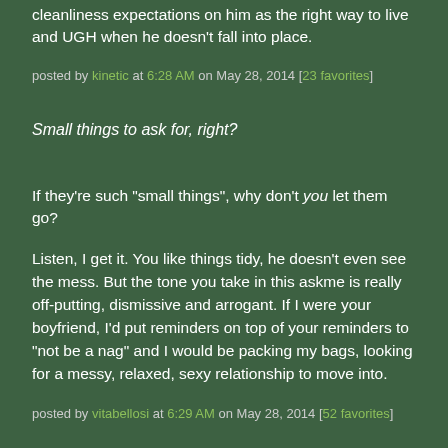cleanliness expectations on him as the right way to live and UGH when he doesn't fall into place.
posted by kinetic at 6:28 AM on May 28, 2014 [23 favorites]
Small things to ask for, right?
If they're such "small things", why don't you let them go?
Listen, I get it. You like things tidy, he doesn't even see the mess. But the tone you take in this askme is really off-putting, dismissive and arrogant. If I were your boyfriend, I'd put reminders on top of your reminders to "not be a nag" and I would be packing my bags, looking for a messy, relaxed, sexy relationship to move into.
posted by vitabellosi at 6:29 AM on May 28, 2014 [52 favorites]